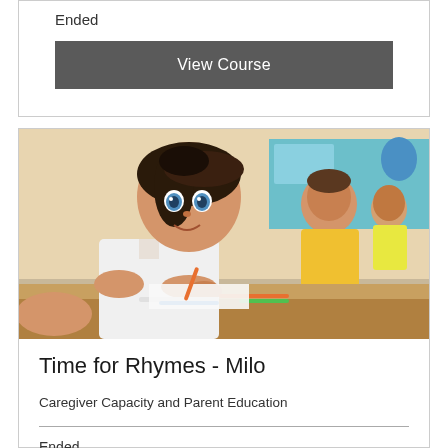Ended
View Course
[Figure (photo): Young girl with dark hair and blue eyes smiling at camera while drawing/writing at a school desk, with another child in a yellow shirt beside her also drawing, classroom setting]
Time for Rhymes - Milo
Caregiver Capacity and Parent Education
Ended